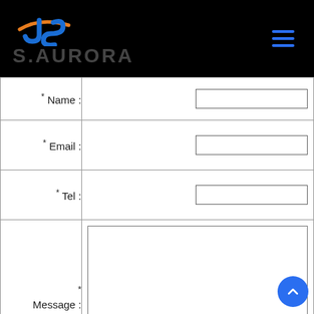[Figure (logo): S.AURORA company logo with stylized JS icon in blue and orange on black background, with hamburger menu icon in blue on the right]
| * Name : | (text input) |
| * Email : | (text input) |
| * Tel : | (text input) |
| *
Message : | (textarea) |
|  | Submit |